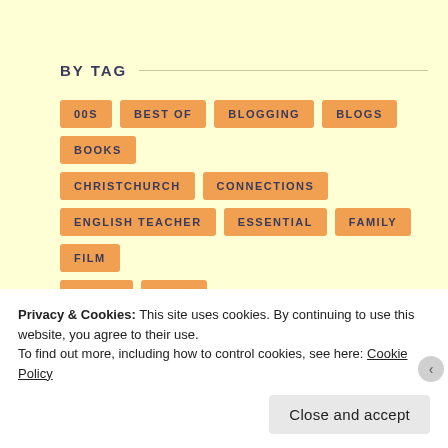BY TAG
00S
BEST OF
BLOGGING
BLOGS
BOOKS
CHRISTCHURCH
CONNECTIONS
ENGLISH TEACHER
ESSENTIAL
FAMILY
FILM
FUNNY
INDIA
INSIDE THE BLOGGERS STUDIO
INTERVIEW
JAPAN
KERALA
MUSIC
NEW ZEALAND
NZFF
POLITICS
Privacy & Cookies: This site uses cookies. By continuing to use this website, you agree to their use.
To find out more, including how to control cookies, see here: Cookie Policy
Close and accept